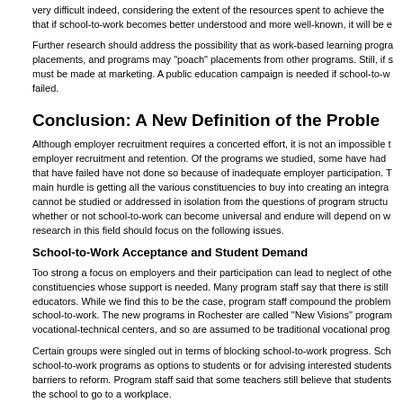very difficult indeed, considering the extent of the resources spent to achieve the that if school-to-work becomes better understood and more well-known, it will be e
Further research should address the possibility that as work-based learning progra placements, and programs may "poach" placements from other programs. Still, if s must be made at marketing. A public education campaign is needed if school-to-w failed.
Conclusion: A New Definition of the Problem
Although employer recruitment requires a concerted effort, it is not an impossible t employer recruitment and retention. Of the programs we studied, some have had that have failed have not done so because of inadequate employer participation. T main hurdle is getting all the various constituencies to buy into creating an integra cannot be studied or addressed in isolation from the questions of program structu whether or not school-to-work can become universal and endure will depend on w research in this field should focus on the following issues.
School-to-Work Acceptance and Student Demand
Too strong a focus on employers and their participation can lead to neglect of othe constituencies whose support is needed. Many program staff say that there is still educators. While we find this to be the case, program staff compound the problem school-to-work. The new programs in Rochester are called "New Visions" program vocational-technical centers, and so are assumed to be traditional vocational prog
Certain groups were singled out in terms of blocking school-to-work progress. Sch school-to-work programs as options to students or for advising interested students barriers to reform. Program staff said that some teachers still believe that students the school to go to a workplace.